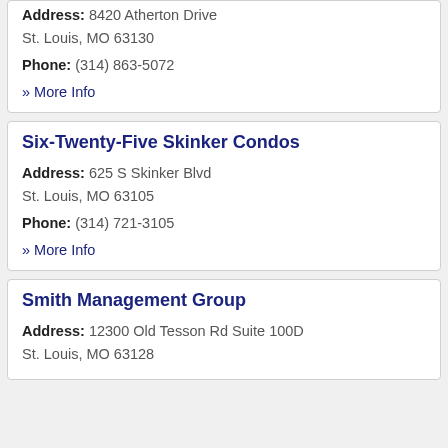Address: 8420 Atherton Drive
St. Louis, MO 63130
Phone: (314) 863-5072
» More Info
Six-Twenty-Five Skinker Condos
Address: 625 S Skinker Blvd
St. Louis, MO 63105
Phone: (314) 721-3105
» More Info
Smith Management Group
Address: 12300 Old Tesson Rd Suite 100D
St. Louis, MO 63128